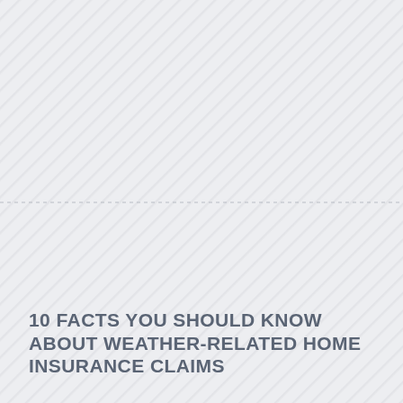[Figure (illustration): Background with diagonal stripe pattern in light grey, divided horizontally by a dashed line roughly in the middle of the page.]
10 FACTS YOU SHOULD KNOW ABOUT WEATHER-RELATED HOME INSURANCE CLAIMS